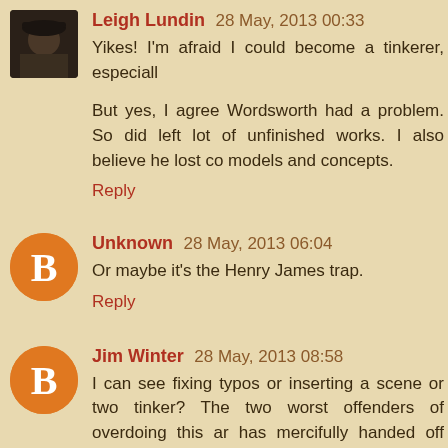Leigh Lundin 28 May, 2013 00:33
Yikes! I'm afraid I could become a tinkerer, especiall
But yes, I agree Wordsworth had a problem. So did left lot of unfinished works. I also believe he lost co models and concepts.
Reply
Unknown 28 May, 2013 06:04
Or maybe it's the Henry James trap.
Reply
Jim Winter 28 May, 2013 08:58
I can see fixing typos or inserting a scene or two tinker? The two worst offenders of overdoing this ar has mercifully handed off Star Wars to JJ Abrams